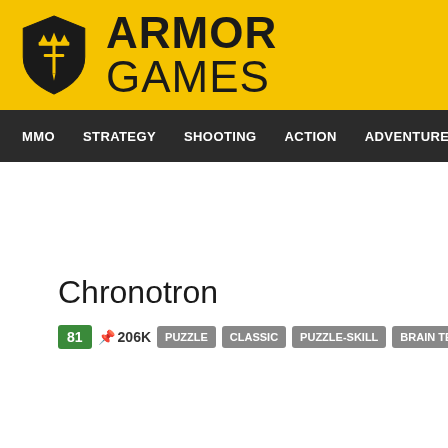ARMOR GAMES
MMO | STRATEGY | SHOOTING | ACTION | ADVENTURE | P
Chronotron
81 📌 206K PUZZLE CLASSIC PUZZLE-SKILL BRAIN TEASER ROBOT